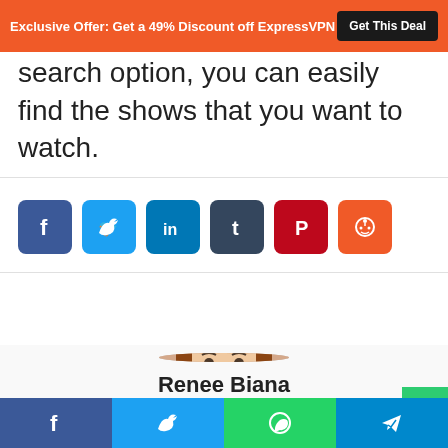Exclusive Offer: Get a 49% Discount off ExpressVPN  Get This Deal
watch anime. Thanks to the search option, you can easily find the shows that you want to watch.
[Figure (other): Social share buttons: Facebook, Twitter, LinkedIn, Tumblr, Pinterest, Reddit]
[Figure (photo): Circular headshot photo of author Renee Biana]
Renee Biana
Bottom share bar with Facebook, Twitter, WhatsApp, Telegram icons